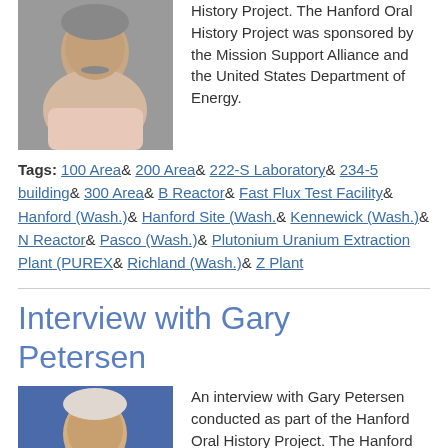[Figure (photo): Headshot of elderly man with mustache, wearing light pink shirt, gray background]
History Project. The Hanford Oral History Project was sponsored by the Mission Support Alliance and the United States Department of Energy.
Tags: 100 Area& 200 Area& 222-S Laboratory& 234-5 building& 300 Area& B Reactor& Fast Flux Test Facility& Hanford (Wash.)& Hanford Site (Wash.& Kennewick (Wash.)& N Reactor& Pasco (Wash.)& Plutonium Uranium Extraction Plant (PUREX& Richland (Wash.)& Z Plant
Interview with Gary Petersen
[Figure (photo): Headshot of older man with white/gray hair, smiling, blue background]
An interview with Gary Petersen conducted as part of the Hanford Oral History Project. The Hanford Oral Histo...